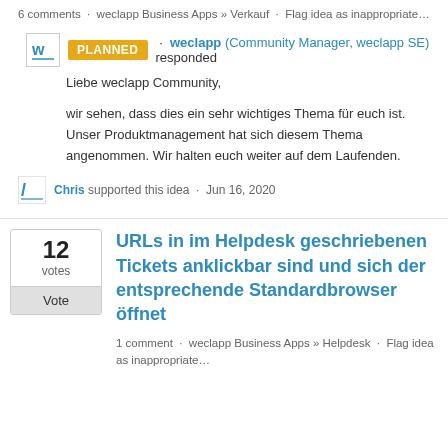6 comments · weclapp Business Apps » Verkauf · Flag idea as inappropriate…
PLANNED · weclapp (Community Manager, weclapp SE) responded

Liebe weclapp Community,

wir sehen, dass dies ein sehr wichtiges Thema für euch ist. Unser Produktmanagement hat sich diesem Thema angenommen. Wir halten euch weiter auf dem Laufenden.
Chris supported this idea · Jun 16, 2020
12 votes Vote
URLs in im Helpdesk geschriebenen Tickets anklickbar sind und sich der entsprechende Standardbrowser öffnet
1 comment · weclapp Business Apps » Helpdesk · Flag idea as inappropriate…